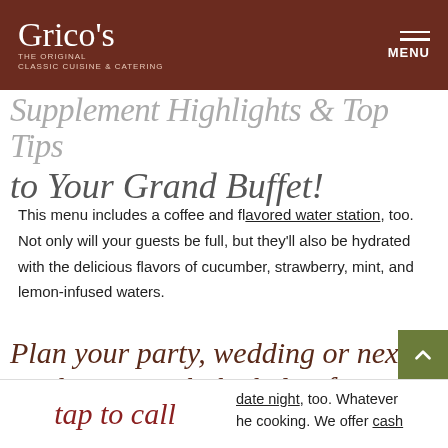Grico's — THE ORIGINAL CLASSIC CUISINE & CATERING | MENU
to Your Grand Buffet!
This menu includes a coffee and flavored water station, too. Not only will your guests be full, but they'll also be hydrated with the delicious flavors of cucumber, strawberry, mint, and lemon-infused waters.
Plan your party, wedding or next work event with the help of Grico's in Exeter!
Our catering is perfect for a date night, too. Whatever he cooking. We offer cash